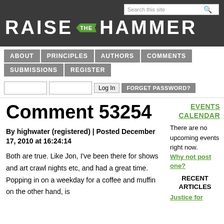RAISE THE HAMMER
ABOUT | PRINCIPLES | AUTHORS | COMMENTS | SUBMISSIONS | REGISTER
Comment 53254
By highwater (registered) | Posted December 17, 2010 at 16:24:14
Both are true. Like Jon, I've been there for shows and art crawl nights etc, and had a great time. Popping in on a weekday for a coffee and muffin on the other hand, is
EVENTS CALENDAR
There are no upcoming events right now. Why not post one?
RECENT ARTICLES
Justice for